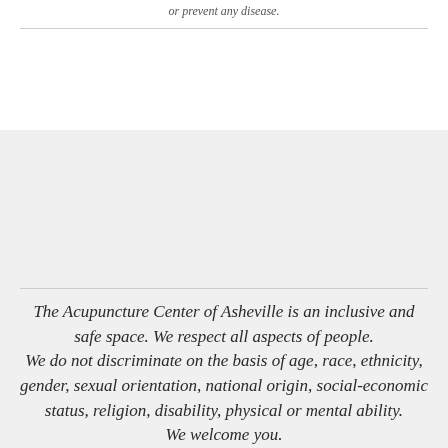or prevent any disease.
The Acupuncture Center of Asheville is an inclusive and safe space. We respect all aspects of people.
We do not discriminate on the basis of age, race, ethnicity, gender, sexual orientation, national origin, social-economic status, religion, disability, physical or mental ability.
We welcome you.
Book Now